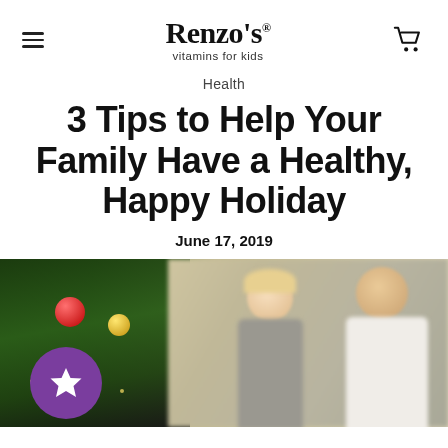Renzo's vitamins for kids
Health
3 Tips to Help Your Family Have a Healthy, Happy Holiday
June 17, 2019
[Figure (photo): Family holiday scene with Christmas tree with red and gold ornaments on the left, and a blurred couple (woman with blonde hair, man in white shirt) on the right. A purple circular badge with a white star is overlaid on the bottom-left of the image.]